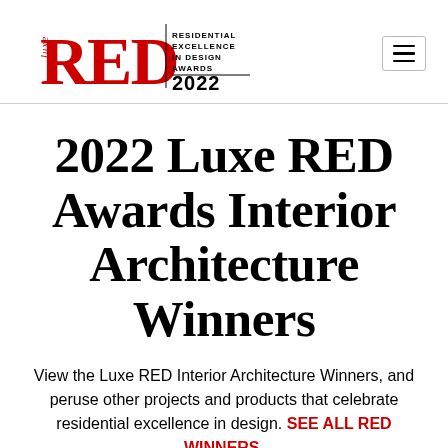[Figure (logo): Luxe RED Awards 2022 logo — 'luxe' in italic red vertical text beside large red 'RED' letters, with 'RESIDENTIAL EXCELLENCE IN DESIGN AWARDS' in small caps and '2022' in bold black]
2022 Luxe RED Awards Interior Architecture Winners
View the Luxe RED Interior Architecture Winners, and peruse other projects and products that celebrate residential excellence in design. SEE ALL RED WINNERS.